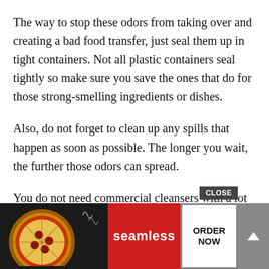The way to stop these odors from taking over and creating a bad food transfer, just seal them up in tight containers. Not all plastic containers seal tightly so make sure you save the ones that do for those strong-smelling ingredients or dishes.
Also, do not forget to clean up any spills that happen as soon as possible. The longer you wait, the further those odors can spread.
You do not need commercial cleansers with a lot of hazardous ingredients to get rid of those foul odors. The above steps or options will do the same task without adding any risk to your food or for your the quicke... r
[Figure (screenshot): Seamless food delivery advertisement banner with pizza image, seamless logo, ORDER NOW button, CLOSE button, and scroll-up arrow button]